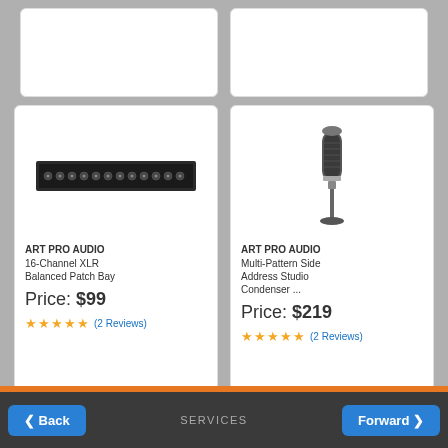[Figure (photo): Partial top row showing two partially visible white product cards]
[Figure (photo): ART PRO AUDIO 16-Channel XLR Balanced Patch Bay product image - dark rack-mount unit with multiple XLR ports]
ART PRO AUDIO
16-Channel XLR Balanced Patch Bay
Price: $99
★★★★★ (2 Reviews)
[Figure (photo): ART PRO AUDIO Multi-Pattern Side Address Studio Condenser microphone product image - silver and black condenser mic on stand]
ART PRO AUDIO
Multi-Pattern Side Address Studio Condenser ...
Price: $219
★★★★★ (2 Reviews)
Back   SERVICES   Forward